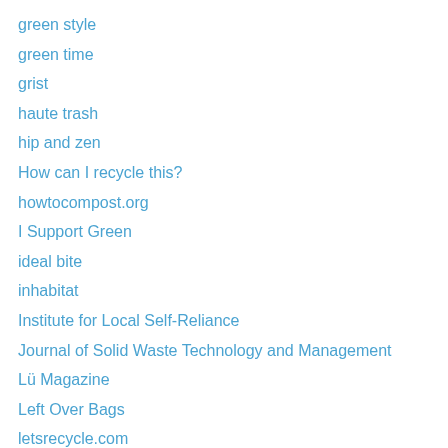green style
green time
grist
haute trash
hip and zen
How can I recycle this?
howtocompost.org
I Support Green
ideal bite
inhabitat
Institute for Local Self-Reliance
Journal of Solid Waste Technology and Management
Lü Magazine
Left Over Bags
letsrecycle.com
LivePaths.com
Lower East Side Ecology Center
Make Art Not Trash
Making A Museum
natural resources defense council